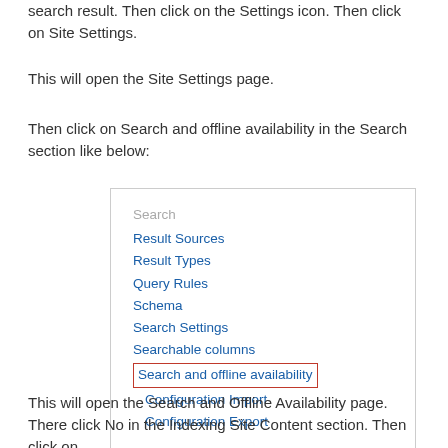Open the site which you want to prevent to appear in the search result. Then click on the Settings icon. Then click on Site Settings.
This will open the Site Settings page.
Then click on Search and offline availability in the Search section like below:
[Figure (screenshot): Screenshot of a SharePoint Site Settings menu showing a Search section with links: Result Sources, Result Types, Query Rules, Schema, Search Settings, Searchable columns, Search and offline availability (highlighted with red border), Configuration Import, Configuration Export]
This will open the Search and Offline Availability page. There click No in the Indexing Site Content section. Then click on